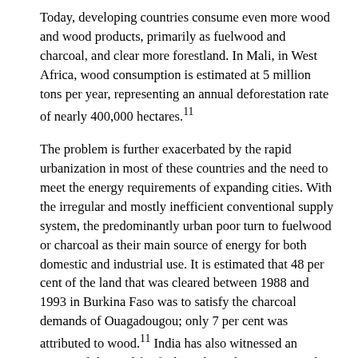Today, developing countries consume even more wood and wood products, primarily as fuelwood and charcoal, and clear more forestland. In Mali, in West Africa, wood consumption is estimated at 5 million tons per year, representing an annual deforestation rate of nearly 400,000 hectares.11 The problem is further exacerbated by the rapid urbanization in most of these countries and the need to meet the energy requirements of expanding cities. With the irregular and mostly inefficient conventional supply system, the predominantly urban poor turn to fuelwood or charcoal as their main source of energy for both domestic and industrial use. It is estimated that 48 per cent of the land that was cleared between 1988 and 1993 in Burkina Faso was to satisfy the charcoal demands of Ouagadougou; only 7 per cent was attributed to wood.11 India has also witnessed an increased demand for fuelwood in urban centers in the last fifteen years. In Brazil, charcoal is also a main source of industrial fuel. Currently, industrialized countries consume more